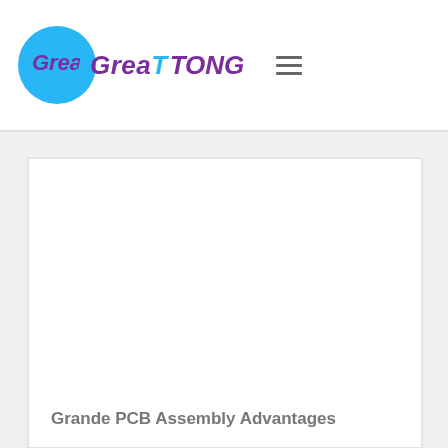GreaTTONG
Grande PCB Assembly Advantages